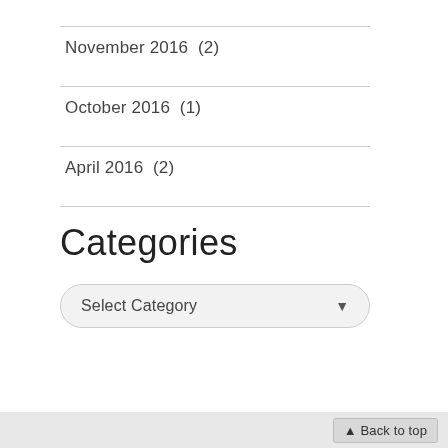November 2016  (2)
October 2016  (1)
April 2016  (2)
Categories
Select Category
▲ Back to top